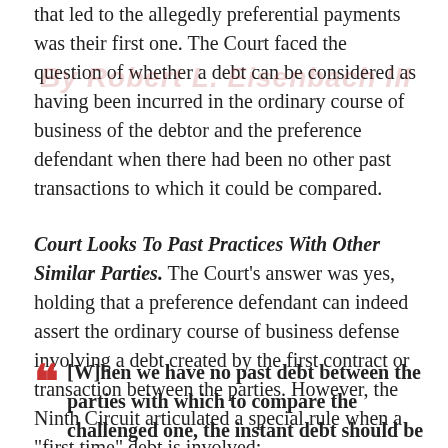that led to the allegedly preferential payments was their first one. The Court faced the question of whether a debt can be considered as having been incurred in the ordinary course of business of the debtor and the preference defendant when there had been no other past transactions to which it could be compared.
Court Looks To Past Practices With Other Similar Parties.
The Court's answer was yes, holding that a preference defendant can indeed assert the ordinary course of business defense involving a debt created by the first contract or transaction between the parties. However, the Ninth Circuit articulated a special rule when a "first time" debt is involved:
[W]hen we have no past debt between the parties with which to compare the challenged one, the instant debt should be compared to the debt agreements into